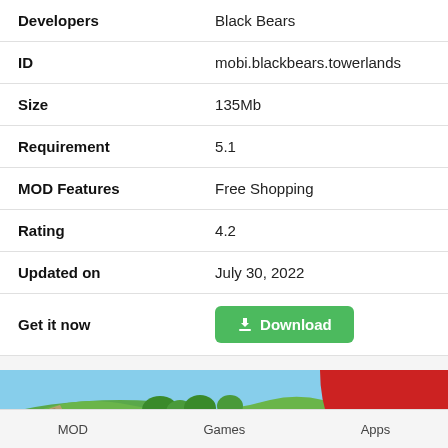| Developers | Black Bears |
| ID | mobi.blackbears.towerlands |
| Size | 135Mb |
| Requirement | 5.1 |
| MOD Features | Free Shopping |
| Rating | 4.2 |
| Updated on | July 30, 2022 |
| Get it now | Download |
[Figure (illustration): Game screenshot banner showing a green hillside landscape with a red ribbon/banner element and text 'BUILD A TOWN' on the right side]
MOD   Games   Apps